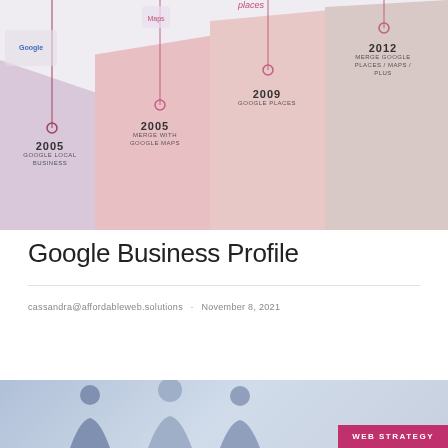[Figure (infographic): Timeline infographic showing Google Maps/Places evolution: 2005 Google Local Business, 2005 Merge with Google Maps, 2009 Google Places, 2012 Merge Google Places/Maps/Plus. Perspective column bands in pink/purple tones with vertical timeline markers.]
Google Business Profile
cassandra@affordableweb.solutions · November 8, 2021
[Figure (photo): Bottom strip showing silhouette people icons on a blue/grey background with a dark red/pink 'WEB STRATEGY' badge in the bottom right corner.]